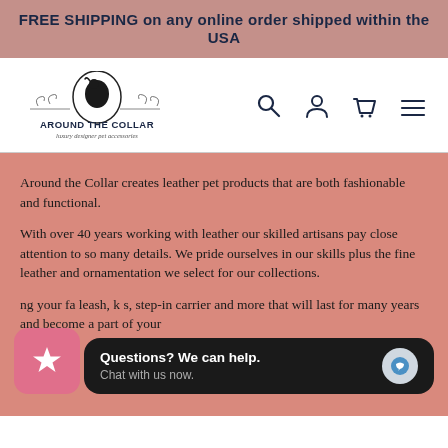FREE SHIPPING on any online order shipped within the USA
[Figure (logo): Around the Collar luxury designer pet accessories logo with dog silhouette in oval medallion and decorative scrollwork]
Around the Collar creates leather pet products that are both fashionable and functional.
With over 40 years working with leather our skilled artisans pay close attention to so many details. We pride ourselves in our skills plus the fine leather and ornamentation we select for our collections.
...ng your fa... leash, k ...s, step-in... carrier and more that will last for many years and become a part of your...